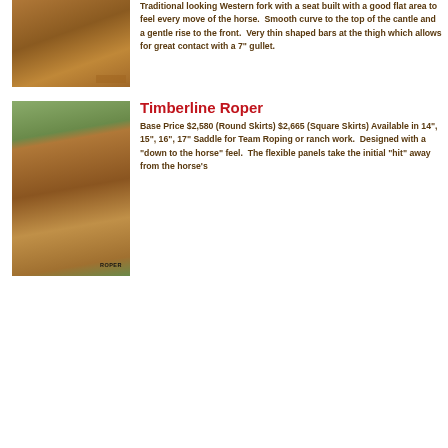[Figure (photo): Photo of a western saddle mounted outdoors among brush/sticks]
Traditional looking Western fork with a seat built with a good flat area to feel every move of the horse.  Smooth curve to the top of the cantle and a gentle rise to the front.  Very thin shaped bars at the thigh which allows for great contact with a 7" gullet.
[Figure (photo): Photo of a Timberline Roper western saddle on a green grassy background, labeled ROPER]
Timberline Roper
Base Price $2,580 (Round Skirts) $2,665 (Square Skirts) Available in 14", 15", 16", 17" Saddle for Team Roping or ranch work.  Designed with a "down to the horse" feel.  The flexible panels take the initial "hit" away from the horse's